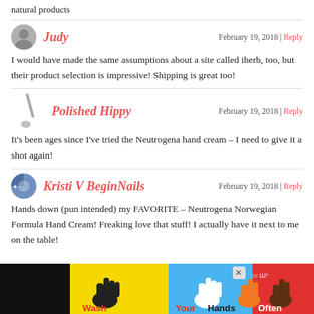natural products
Judy — February 19, 2018 | Reply
I would have made the same assumptions about a site called iherb, too, but their product selection is impressive! Shipping is great too!
Polished Hippy — February 19, 2018 | Reply
It's been ages since I've tried the Neutrogena hand cream – I need to give it a shot again!
Kristi V BeginNails — February 19, 2018 | Reply
Hands down (pun intended) my FAVORITE – Neutrogena Norwegian Formula Hand Cream! Freaking love that stuff! I actually have it next to me on the table!
[Figure (infographic): Advertisement banner: Wash Your Hands Often with colorful hand illustrations on dark background]